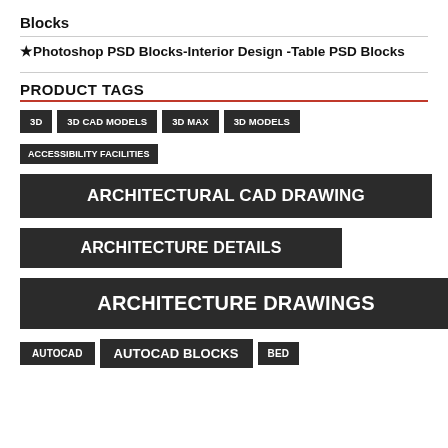Blocks
★Photoshop PSD Blocks-Interior Design -Table PSD Blocks
PRODUCT TAGS
3D
3D CAD MODELS
3D MAX
3D MODELS
ACCESSIBILITY FACILITIES
ARCHITECTURAL CAD DRAWING
ARCHITECTURE DETAILS
ARCHITECTURE DRAWINGS
AUTOCAD
AUTOCAD BLOCKS
BED